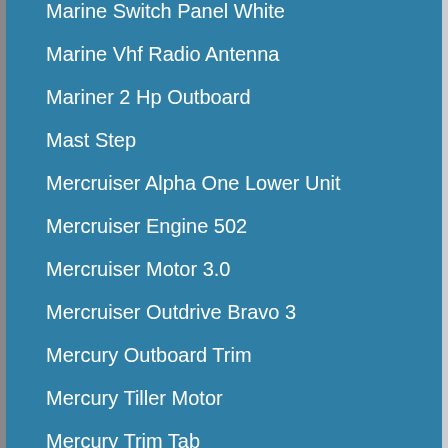Marine Switch Panel White
Marine Vhf Radio Antenna
Mariner 2 Hp Outboard
Mast Step
Mercruiser Alpha One Lower Unit
Mercruiser Engine 502
Mercruiser Motor 3.0
Mercruiser Outdrive Bravo 3
Mercury Outboard Trim
Mercury Tiller Motor
Mercury Trim Tab
Michigan Propeller
Minn Kota Quick Release
Navigation Bow Light
Navigation Lights